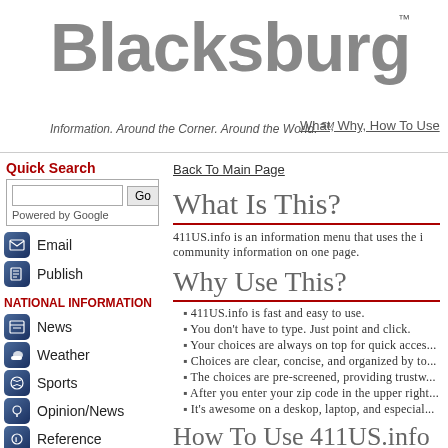Blacksburg™
Information. Around the Corner. Around the World. ℠
What, Why, How To Use
Back To Main Page
Quick Search
Powered by Google
Email
Publish
NATIONAL INFORMATION
News
Weather
Sports
Opinion/News
Reference
Library
Education
Search
What Is This?
411US.info is an information menu that uses the i community information on one page.
Why Use This?
411US.info is fast and easy to use.
You don't have to type. Just point and click.
Your choices are always on top for quick acces...
Choices are clear, concise, and organized by to...
The choices are pre-screened, providing trustw...
After you enter your zip code in the upper right...
It's awesome on a deskop, laptop, and especial...
How To Use 411US.info
To find local information, enter your zip code...